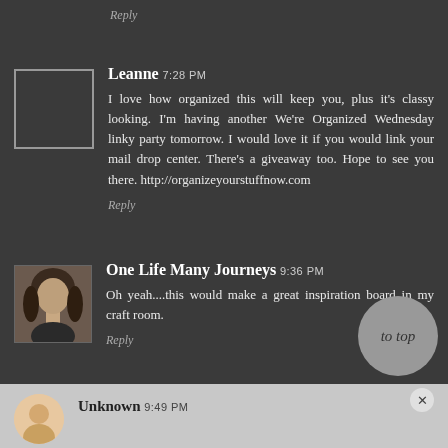Reply
Leanne 7:28 PM
I love how organized this will keep you, plus it's classy looking. I'm having another We're Organized Wednesday linky party tomorrow. I would love it if you would link your mail drop center. There's a giveaway too. Hope to see you there. http://organizeyourstuffnow.com
Reply
One Life Many Journeys 9:36 PM
Oh yeah....this would make a great inspiration board in my craft room.
Reply
Unknown 9:49 PM